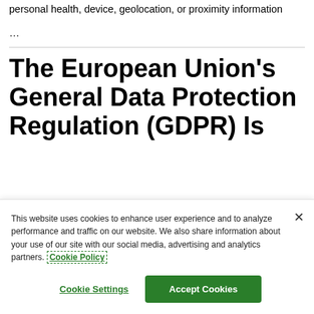personal health, device, geolocation, or proximity information
…
The European Union's General Data Protection Regulation (GDPR) Is
This website uses cookies to enhance user experience and to analyze performance and traffic on our website. We also share information about your use of our site with our social media, advertising and analytics partners. Cookie Policy
Cookie Settings    Accept Cookies